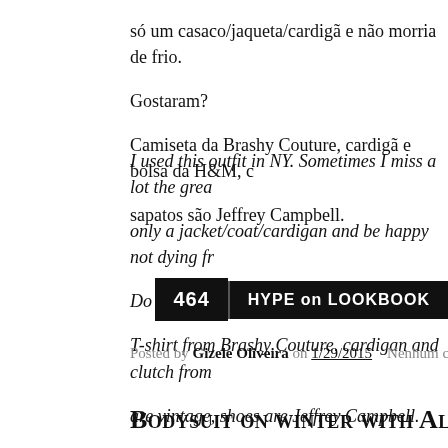só um casaco/jaqueta/cardigã e não morria de frio.
Gostaram?
Camiseta da Brashy Couture, cardigã e bolsa da H&M, c sapatos são Jeffrey Campbell.
I used this outfit in NY. Sometimes I miss a lot the grea only a jacket/coat/cardigan and be happy not dying fr Do you guys like?
T-shirt from Brashy Couture, cardigan and clutch from are vintage, shoes are Jeffrey Campbell.
[Figure (other): Black button with '464' and 'HYPE on LOOKBOOK' label]
Posted by Gizele Oliveira on 1/29/2015    Nenhum comentário:
Bodysuit on winter with Alix